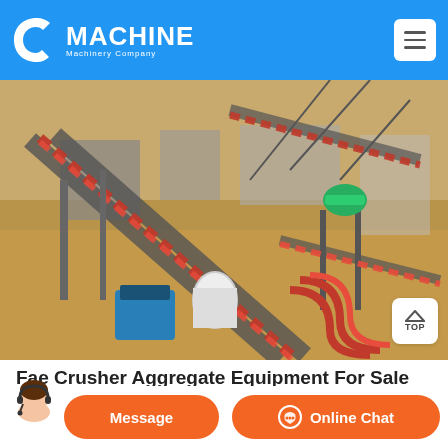C MACHINE Machinery Company
[Figure (photo): Aerial view of a large aggregate crushing and conveyor plant with red conveyor belts, machinery and equipment on a construction site with sandy terrain.]
Fae Crusher Aggregate Equipment For Sale 24 Listings
Jun 16, 2021 Browse a wide selection of new and used FAE
Message
Online Chat